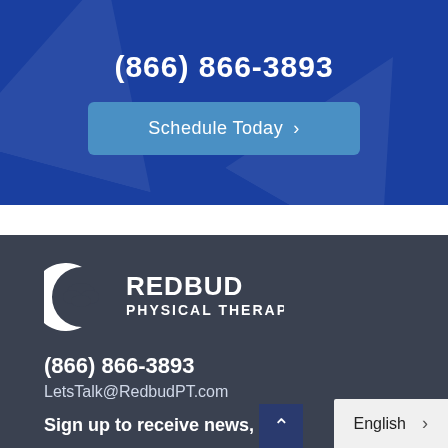(866) 866-3893
Schedule Today >
[Figure (logo): Redbud Physical Therapy logo — white tree/crescent moon icon with text REDBUD PHYSICAL THERAPY]
(866) 866-3893
LetsTalk@RedbudPT.com
Sign up to receive news, u...
English >